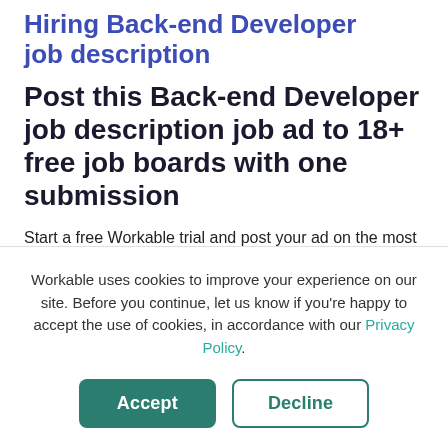Hiring Back-end Developer job description
Post this Back-end Developer job description job ad to 18+ free job boards with one submission
Start a free Workable trial and post your ad on the most popular
Workable uses cookies to improve your experience on our site. Before you continue, let us know if you're happy to accept the use of cookies, in accordance with our Privacy Policy.